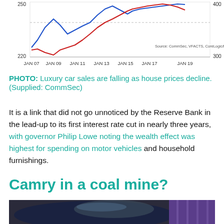[Figure (line-chart): Line chart showing two data series from JAN 07 to JAN 19. Left y-axis 220-250, right y-axis 300-400. Blue and red trend lines. Source: CommSec, VFACTS, CoreLogic/RP Data]
PHOTO: Luxury car sales are falling as house prices decline. (Supplied: CommSec)
It is a link that did not go unnoticed by the Reserve Bank in the lead-up to its first interest rate cut in nearly three years, with governor Philip Lowe noting the wealth effect was highest for spending on motor vehicles and household furnishings.
Camry in a coal mine?
[Figure (photo): Dark blue car (sedan/luxury) photographed at an event, with a purple branded display backdrop visible on the right side.]